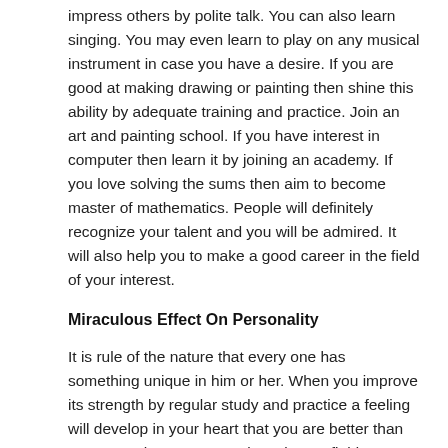impress others by polite talk. You can also learn singing. You may even learn to play on any musical instrument in case you have a desire. If you are good at making drawing or painting then shine this ability by adequate training and practice. Join an art and painting school. If you have interest in computer then learn it by joining an academy. If you love solving the sums then aim to become master of mathematics. People will definitely recognize your talent and you will be admired. It will also help you to make a good career in the field of your interest.
Miraculous Effect On Personality
It is rule of the nature that every one has something unique in him or her. When you improve its strength by regular study and practice a feeling will develop in your heart that you are better than so many other persons at least in one field. You can't even imagine at present the miraculous effect it will have on your personality. You will start gaining confidence and gradually become free from inferiority complex. Your negative thinking about yourself built this